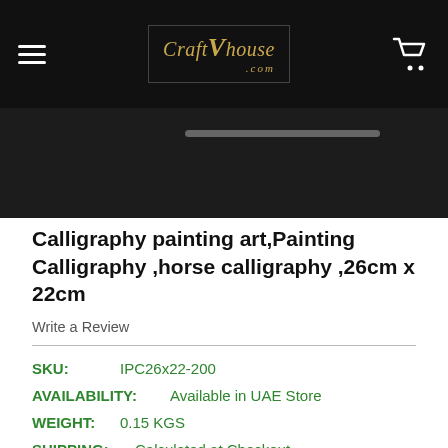CraftVhouse.com
[Figure (screenshot): Product image area with dark background and scroll indicator bar]
Calligraphy painting art,Painting Calligraphy ,horse calligraphy ,26cm x 22cm
Write a Review
SKU: IPC26x22-200
AVAILABILITY: Available in UAE Store
WEIGHT: 0.15 KGS
SHIPPING: Calculated at Checkout
$24.00